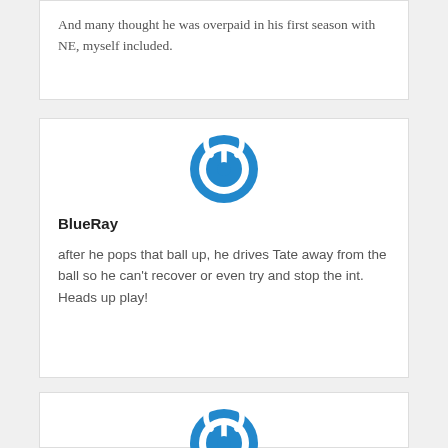And many thought he was overpaid in his first season with NE, myself included.
[Figure (logo): Blue circular power button icon (user avatar for BlueRay)]
BlueRay
after he pops that ball up, he drives Tate away from the ball so he can't recover or even try and stop the int. Heads up play!
[Figure (logo): Blue circular power button icon (user avatar for Ben Sanchez)]
Ben Sanchez